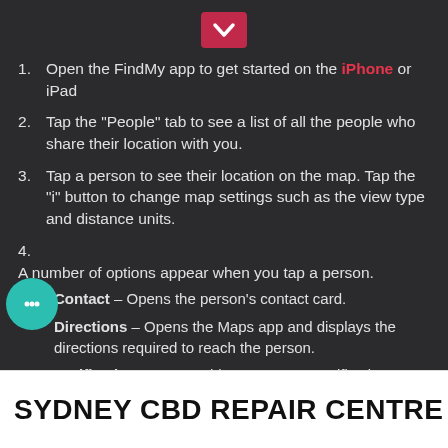[Figure (other): Pink/red chevron down arrow button]
Open the FindMy app to get started on the iPhone or iPad
Tap the “People” tab to see a list of all the people who share their location with you.
Tap a person to see their location on the map. Tap the “i” button to change map settings such as the view type and distance units.
A number of options appear when you tap a person.
Contact – Opens the person’s contact card.
Directions – Opens the Maps app and displays the directions required to reach the person.
Notifications – Tap “Add” to set a new notification
SYDNEY CBD REPAIR CENTRE MENU ≡